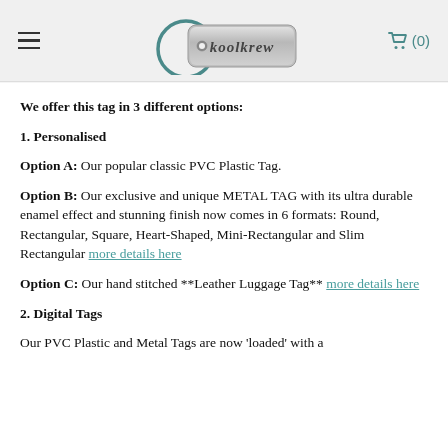koolkrew logo with navigation hamburger menu and cart (0)
We offer this tag in 3 different options:
1. Personalised
Option A: Our popular classic PVC Plastic Tag.
Option B: Our exclusive and unique METAL TAG with its ultra durable enamel effect and stunning finish now comes in 6 formats: Round, Rectangular, Square, Heart-Shaped, Mini-Rectangular and Slim Rectangular more details here
Option C: Our hand stitched **Leather Luggage Tag** more details here
2. Digital Tags
Our PVC Plastic and Metal Tags are now 'loaded' with a